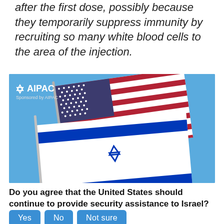after the first dose, possibly because they temporarily suppress immunity by recruiting so many white blood cells to the area of the injection.
[Figure (photo): Photo of American and Israeli flags flying together against a blue sky, with AIPAC logo and 'Sponsored by AIPAC' text overlaid in the top-left corner.]
Do you agree that the United States should continue to provide security assistance to Israel?
Yes
No
Not sure